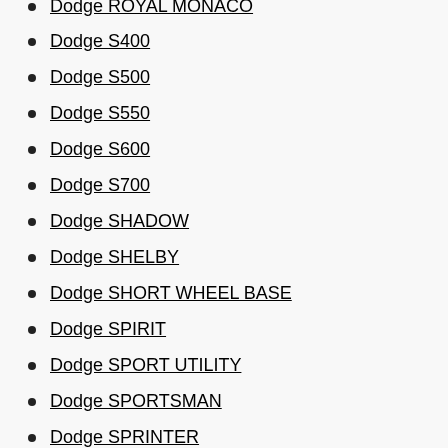Dodge ROYAL MONACO
Dodge S400
Dodge S500
Dodge S550
Dodge S600
Dodge S700
Dodge SHADOW
Dodge SHELBY
Dodge SHORT WHEEL BASE
Dodge SPIRIT
Dodge SPORT UTILITY
Dodge SPORTSMAN
Dodge SPRINTER
Dodge SPRINTER 2500